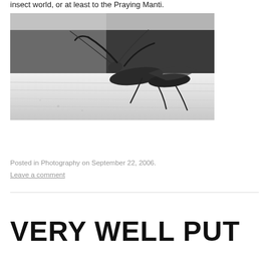insect world, or at least to the Praying Manti.
[Figure (photo): Black and white close-up photograph of a praying mantis on a wooden surface, viewed from a low angle, showing detailed structure of the insect's forelimbs and body against a blurred dark background.]
Posted in Photography on September 22, 2006.
Leave a comment
VERY WELL PUT